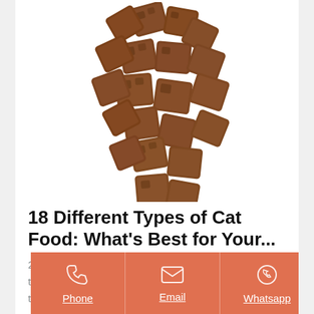[Figure (photo): Pile of brown square cat food kibble pieces on white background]
18 Different Types of Cat Food: What's Best for Your...
29/11/2021 · 2. Canned Meat in Gravy. When it comes to canned cat food, this is probably the most popular in the cat community. It is made of
Phone | Email | Whatsapp